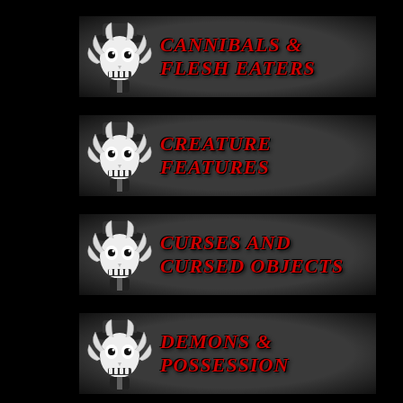[Figure (illustration): Four horror-themed menu banners on black background, each featuring a black-and-white skull/skeleton figure wearing a hat on the left side, and bold red text on a dark gray textured background. Banners read: CANNIBALS & FLESH EATERS, CREATURE FEATURES, CURSES AND CURSED OBJECTS, DEMONS & POSSESSION]
CANNIBALS & FLESH EATERS
CREATURE FEATURES
CURSES AND CURSED OBJECTS
DEMONS & POSSESSION